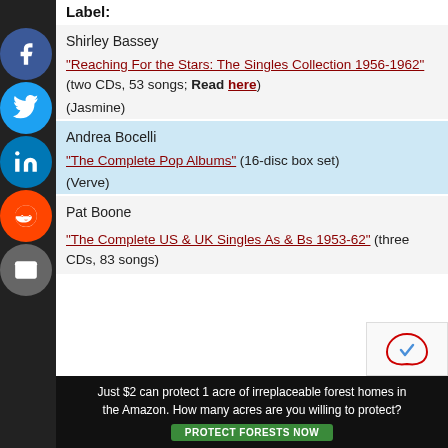Label:
Shirley Bassey
"Reaching For the Stars: The Singles Collection 1956-1962" (two CDs, 53 songs; Read here)
(Jasmine)
Andrea Bocelli
"The Complete Pop Albums" (16-disc box set)
(Verve)
Pat Boone
"The Complete US & UK Singles As & Bs 1953-62" (three CDs, 83 songs)
[Figure (other): Advertisement banner: Just $2 can protect 1 acre of irreplaceable forest homes in the Amazon. How many acres are you willing to protect? Protect Forests Now button.]